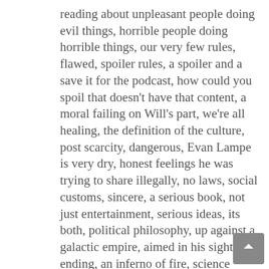reading about unpleasant people doing evil things, horrible people doing horrible things, our very few rules, flawed, spoiler rules, a spoiler and a save it for the podcast, how could you spoil that doesn't have that content, a moral failing on Will's part, we're all healing, the definition of the culture, post scarcity, dangerous, Evan Lampe is very dry, honest feelings he was trying to share illegally, no laws, social customs, sincere, a serious book, not just entertainment, serious ideas, its both, political philosophy, up against a galactic empire, aimed in his sights, the ending, an inferno of fire, science fictional empires are not the target, what ruling class is like, the Epstein stuff, the private island, the blackmail, deviations we want to do, games, if you want a house, with no money and no possessions, gambling, no money or excess money, throughout the book, about economics, if games have options to make the stakes higher Jesse always wants it, Enemy Territory, friendly fire on, one life to live, no respawns, Roguelikes,